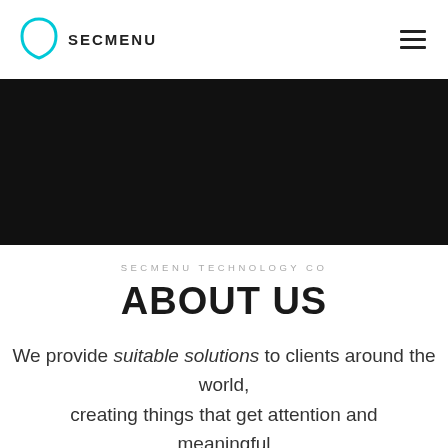SECMENU
[Figure (other): Black hero banner image area]
SECMENU TECHNOLOGY CO
ABOUT US
We provide suitable solutions to clients around the world, creating things that get attention and meaningful